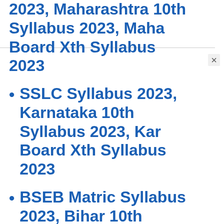2023, Maharashtra 10th Syllabus 2023, Maha Board Xth Syllabus 2023
SSLC Syllabus 2023, Karnataka 10th Syllabus 2023, Kar Board Xth Syllabus 2023
BSEB Matric Syllabus 2023, Bihar 10th Syllabus 2023, Patna Board Xth Syllabus